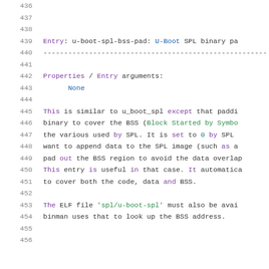436
437
438
439    Entry: u-boot-spl-bss-pad: U-Boot SPL binary pa
440    -----------------------------------------------------------
441
442    Properties / Entry arguments:
443        None
444
445    This is similar to u_boot_spl except that paddi
446    binary to cover the BSS (Block Started by Symbo
447    the various used by SPL. It is set to 0 by SPL
448    want to append data to the SPL image (such as a
449    pad out the BSS region to avoid the data overlap
450    This entry is useful in that case. It automatica
451    to cover both the code, data and BSS.
452
453    The ELF file 'spl/u-boot-spl' must also be avai
454    binman uses that to look up the BSS address.
455
456